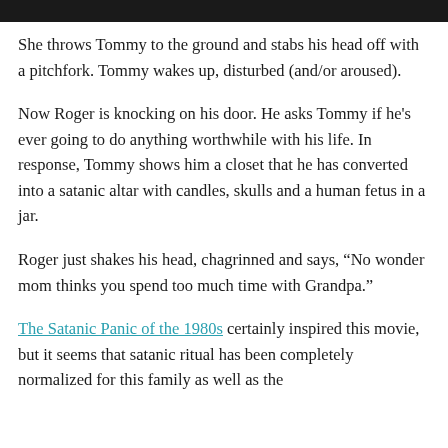[Figure (photo): Dark image bar at the top of the page, showing a partial dark photograph.]
She throws Tommy to the ground and stabs his head off with a pitchfork. Tommy wakes up, disturbed (and/or aroused).
Now Roger is knocking on his door. He asks Tommy if he's ever going to do anything worthwhile with his life. In response, Tommy shows him a closet that he has converted into a satanic altar with candles, skulls and a human fetus in a jar.
Roger just shakes his head, chagrinned and says, “No wonder mom thinks you spend too much time with Grandpa.”
The Satanic Panic of the 1980s certainly inspired this movie, but it seems that satanic ritual has been completely normalized for this family as well as the